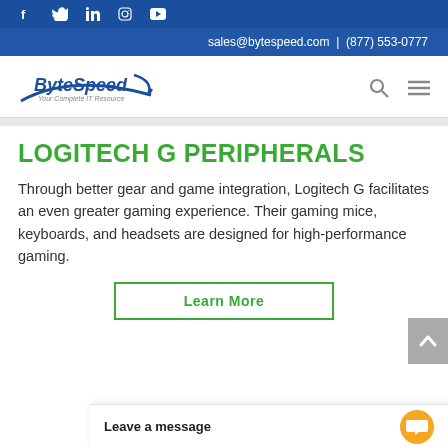Social media icons: Facebook, Twitter, LinkedIn, Instagram, YouTube
sales@bytespeed.com | (877) 553-0777
[Figure (logo): ByteSpeed logo with tagline 'Your Complete IT Resource']
LOGITECH G PERIPHERALS
Through better gear and game integration, Logitech G facilitates an even greater gaming experience. Their gaming mice, keyboards, and headsets are designed for high-performance gaming.
Learn More
Leave a message